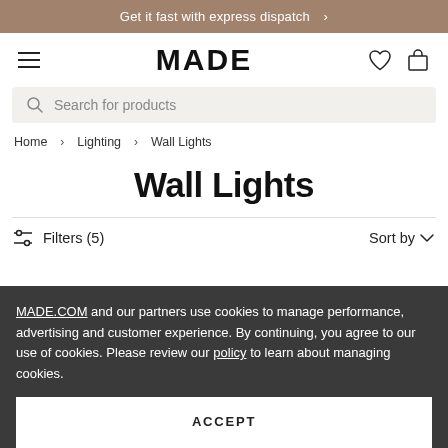Get it fast with express dispatch >
[Figure (logo): MADE.COM logo with hamburger menu, heart icon, and bag icon in navigation bar]
Search for products
Home > Lighting > Wall Lights
Wall Lights
Filters (5)   Sort by
MADE.COM and our partners use cookies to manage performance, advertising and customer experience. By continuing, you agree to our use of cookies. Please review our policy to learn about managing cookies.
ACCEPT